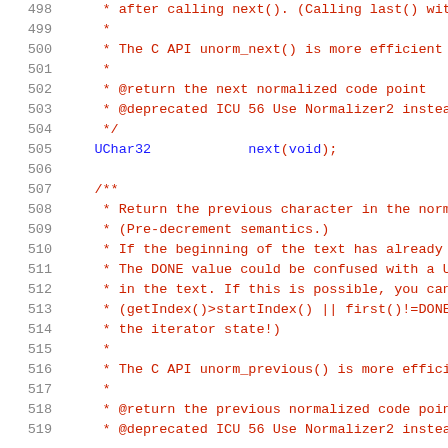[Figure (screenshot): Source code listing showing C++ API documentation comments (Doxygen style) with line numbers 498-519. Lines show comments about next() and previous() normalized code point methods with @return and @deprecated tags, plus a UChar32 next(void) declaration.]